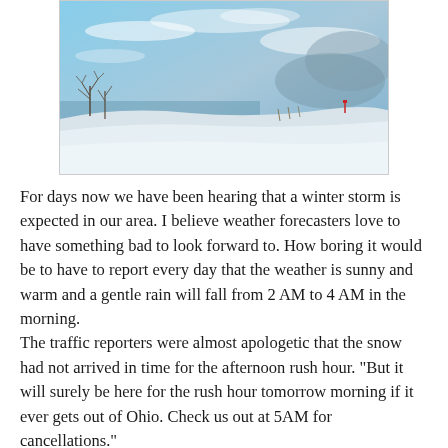[Figure (photo): Winter landscape photo showing a snow-covered hillside or dune with bare trees on the left, a calm water body in the middle distance, and a partly cloudy blue sky above.]
For days now we have been hearing that a winter storm is expected in our area. I believe weather forecasters love to have something bad to look forward to. How boring it would be to have to report every day that the weather is sunny and warm and a gentle rain will fall from 2 AM to 4 AM in the morning.
The traffic reporters were almost apologetic that the snow had not arrived in time for the afternoon rush hour. "But it will surely be here for the rush hour tomorrow morning if it ever gets out of Ohio. Check us out at 5AM for cancellations."
No doubt bad news is good for ratings.